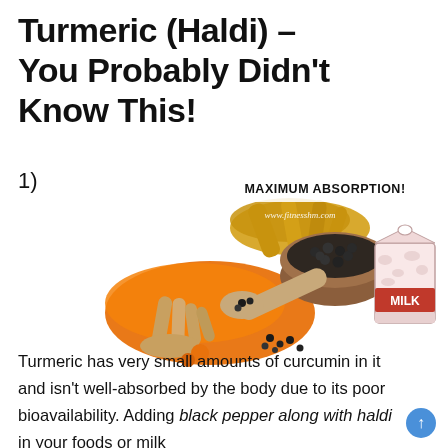Turmeric (Haldi) – You Probably Didn't Know This!
1)
[Figure (photo): Photo of turmeric root, turmeric powder, black pepper in a wooden bowl, a wooden scoop with black pepper spilling out, and an illustrated milk carton. Text overlay reads 'MAXIMUM ABSORPTION!' and 'www.fitnesshm.com']
Turmeric has very small amounts of curcumin in it and isn't well-absorbed by the body due to its poor bioavailability. Adding black pepper along with haldi in your foods or milk